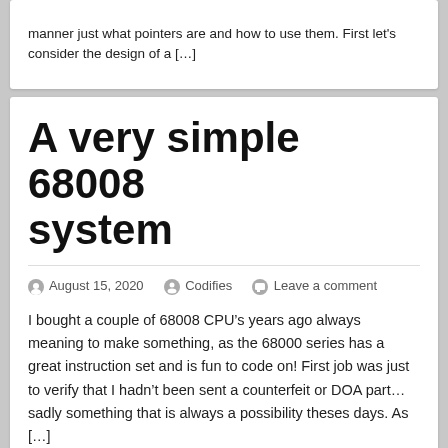manner just what pointers are and how to use them. First let's consider the design of a [...]
A very simple 68008 system
August 15, 2020  Codifies  Leave a comment
I bought a couple of 68008 CPU's years ago always meaning to make something, as the 68000 series has a great instruction set and is fun to code on! First job was just to verify that I hadn't been sent a counterfeit or DOA part... sadly something that is always a possibility theses days. As [...]
Linking C programs with...